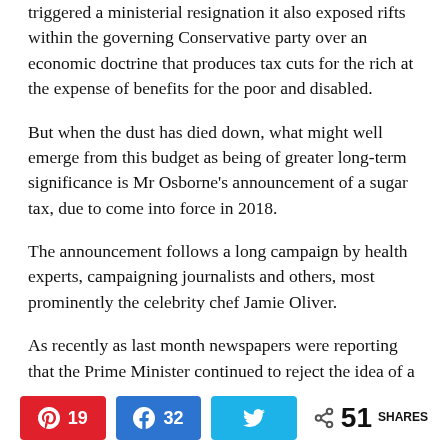triggered a ministerial resignation it also exposed rifts within the governing Conservative party over an economic doctrine that produces tax cuts for the rich at the expense of benefits for the poor and disabled.
But when the dust has died down, what might well emerge from this budget as being of greater long-term significance is Mr Osborne's announcement of a sugar tax, due to come into force in 2018.
The announcement follows a long campaign by health experts, campaigning journalists and others, most prominently the celebrity chef Jamie Oliver.
As recently as last month newspapers were reporting that the Prime Minister continued to reject the idea of a sugar tax, so the chancellor's statement marks a major turnaround.
Pinterest 19  Facebook 32  Twitter  51 SHARES